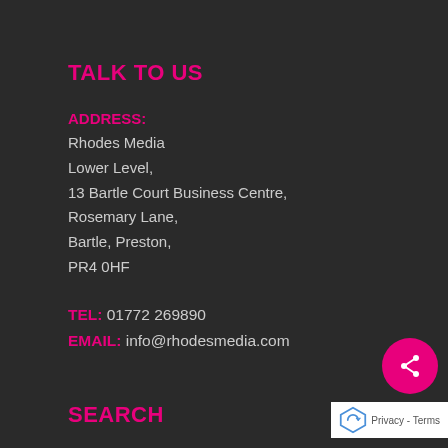TALK TO US
ADDRESS:
Rhodes Media
Lower Level,
13 Bartle Court Business Centre,
Rosemary Lane,
Bartle, Preston,
PR4 0HF
TEL: 01772 269890
EMAIL: info@rhodesmedia.com
SEARCH